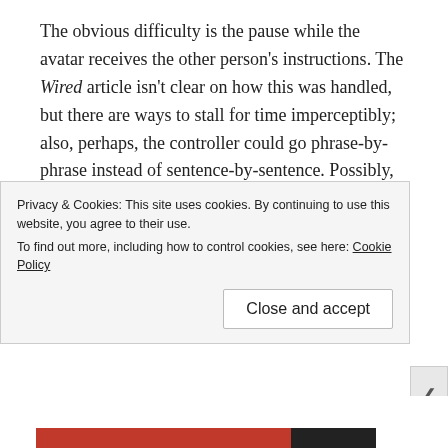The obvious difficulty is the pause while the avatar receives the other person's instructions. The Wired article isn't clear on how this was handled, but there are ways to stall for time imperceptibly; also, perhaps, the controller could go phrase-by-phrase instead of sentence-by-sentence. Possibly, with practice, the avatar could acquire the simultaneous translator's ability to listen and speak at the same time.
The avatar also needs the acting ability needed to bring someone else's words to life. However
Privacy & Cookies: This site uses cookies. By continuing to use this website, you agree to their use.
To find out more, including how to control cookies, see here: Cookie Policy